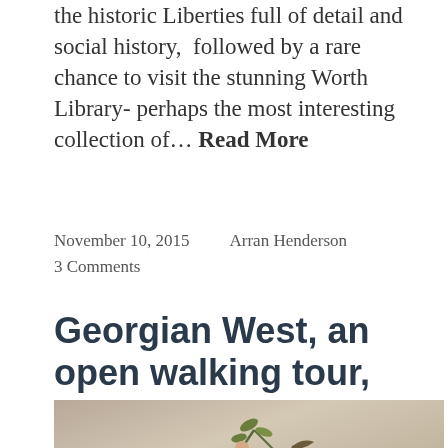the historic Liberties full of detail and social history,  followed by a rare chance to visit the stunning Worth Library- perhaps the most interesting collection of… Read More
November 10, 2015     Arran Henderson
3 Comments
Georgian West, an open walking tour, this Wed 19th August., 2.10pm
[Figure (photo): A decorative painting or fresco showing a cherub or putti figure reaching towards olive/plant branches, against a muted beige/tan background with aged texture.]